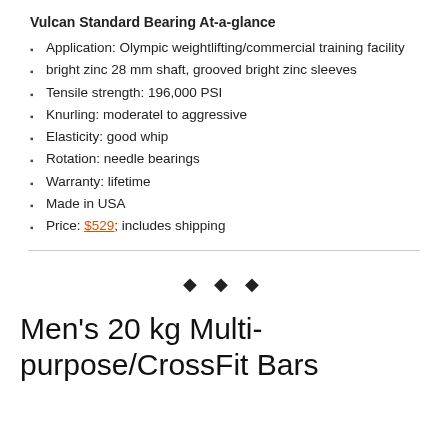Vulcan Standard Bearing At-a-glance
Application: Olympic weightlifting/commercial training facility
bright zinc 28 mm shaft, grooved bright zinc sleeves
Tensile strength: 196,000 PSI
Knurling: moderatel to aggressive
Elasticity: good whip
Rotation: needle bearings
Warranty: lifetime
Made in USA
Price: $529; includes shipping
[Figure (other): Three diamond ornament divider]
Men's 20 kg Multi-purpose/CrossFit Bars